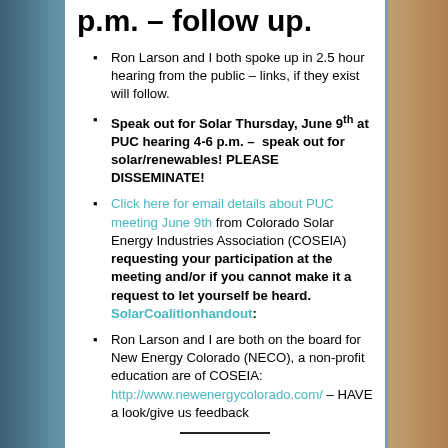p.m. – follow up.
Ron Larson and I both spoke up in 2.5 hour hearing from the public – links, if they exist will follow.
Speak out for Solar Thursday, June 9th at PUC hearing 4-6 p.m. – speak out for solar/renewables! PLEASE DISSEMINATE!
Click here for email details about PUC meeting June 9th from Colorado Solar Energy Industries Association (COSEIA) requesting your participation at the meeting and/or if you cannot make it a request to let yourself be heard. SolarCoalitionhandout:
Ron Larson and I are both on the board for New Energy Colorado (NECO), a non-profit education are of COSEIA: http://www.newenergycolorado.com/ – HAVE a look/give us feedback